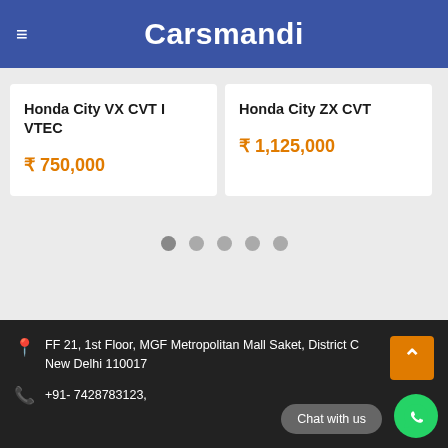Carsmandi
Honda City VX CVT I VTEC
₹ 750,000
Honda City ZX CVT
₹ 1,125,000
[Figure (other): Pagination dots: 5 dots indicating carousel position]
FF 21, 1st Floor, MGF Metropolitan Mall Saket, District Centre, New Delhi 110017
+91- 7428783123,
Chat with us